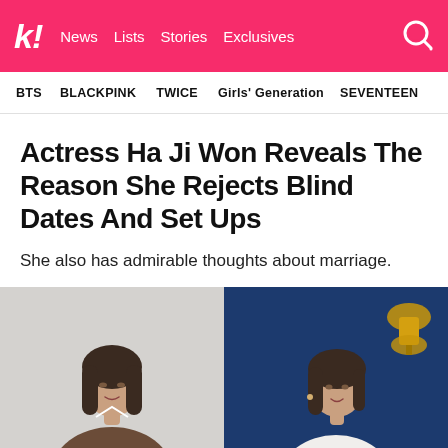k! News Lists Stories Exclusives
BTS BLACKPINK TWICE Girls' Generation SEVENTEEN
Actress Ha Ji Won Reveals The Reason She Rejects Blind Dates And Set Ups
She also has admirable thoughts about marriage.
[Figure (photo): Two side-by-side photos of actress Ha Ji Won — left photo shows her in a brown blazer against a light grey background, right photo shows her in a white top against a dark blue background with a decorative gold lantern visible.]